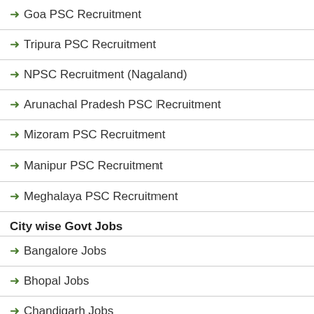→ Goa PSC Recruitment
→ Tripura PSC Recruitment
→ NPSC Recruitment (Nagaland)
→ Arunachal Pradesh PSC Recruitment
→ Mizoram PSC Recruitment
→ Manipur PSC Recruitment
→ Meghalaya PSC Recruitment
City wise Govt Jobs
→ Bangalore Jobs
→ Bhopal Jobs
→ Chandigarh Jobs
→ Chennai Jobs
→ Dadra and Nagar Haveli
→ Daman and Diu